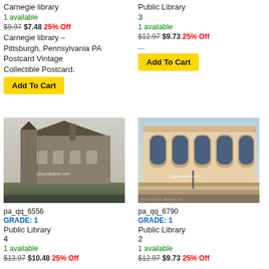Carnegie library
1 available
$9.97 $7.48 25% Off
Carnegie library – Pittsburgh, Pennsylvania PA Postcard Vintage Collectible Postcard.
Add To Cart
Public Library
3
1 available
$12.97 $9.73 25% Off
...
Add To Cart
[Figure (photo): Vintage black and white postcard of a public library building with ivy, marked USpostcards.com]
pa_qq_6556
GRADE: 1
Public Library
4
1 available
$13.97 $10.48 25% Off
...
Add To Cart
[Figure (photo): Vintage colorized postcard of a neoclassical public library building with arched windows, marked USpostcards.com]
pa_qq_6790
GRADE: 1
Public Library
2
1 available
$12.97 $9.73 25% Off
...
Add To Cart